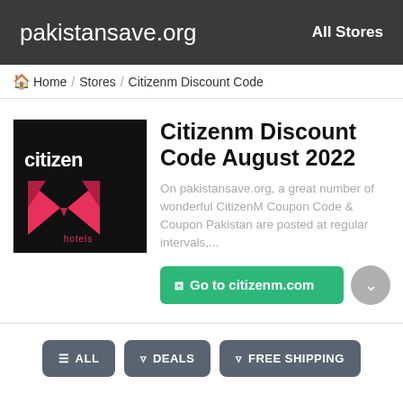pakistansave.org   All Stores
Home / Stores / Citizenm Discount Code
[Figure (logo): CitizenM Hotels logo: black background with white 'citizen' text and a red M shape below]
Citizenm Discount Code August 2022
On pakistansave.org, a great number of wonderful CitizenM Coupon Code & Coupon Pakistan are posted at regular intervals,...
Go to citizenm.com
ALL   DEALS   FREE SHIPPING